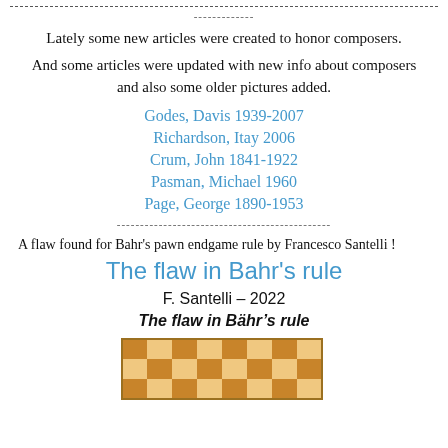-------------
Lately some new articles were created to honor composers.
And some articles were updated with new info about composers and also some older pictures added.
Godes, Davis 1939-2007
Richardson, Itay 2006
Crum, John 1841-1922
Pasman, Michael 1960
Page, George 1890-1953
----------------------------------------------
A flaw found for Bahr's pawn endgame rule by Francesco Santelli !
The flaw in Bahr's rule
F. Santelli – 2022
The flaw in Bähr's rule
[Figure (illustration): Chess board showing partial position with checkered pattern of light and dark squares]